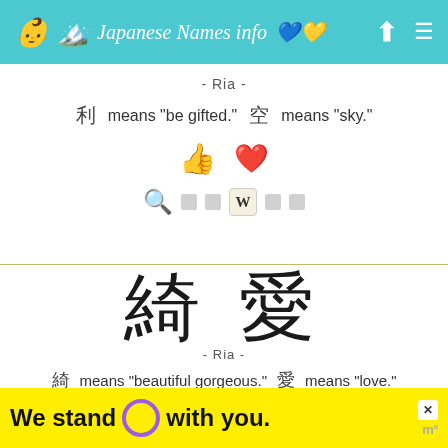Japanese Names info
- Ria -
◻ means "be gifted."   ◻ means "sky."
[Figure (illustration): Thumbs up emoji and heart emoji (like and favorite icons)]
[Figure (illustration): Search icon, two small square icons, Wikipedia W icon, two small square icons]
[Figure (illustration): Large kanji characters 綺 愛]
- Ria -
◻ means "beautiful gorgeous."   ◻ means "love."
[Figure (illustration): Thumbs up emoji and heart emoji (like and favorite icons)]
[Figure (illustration): Advertisement banner: We stand O with you.]